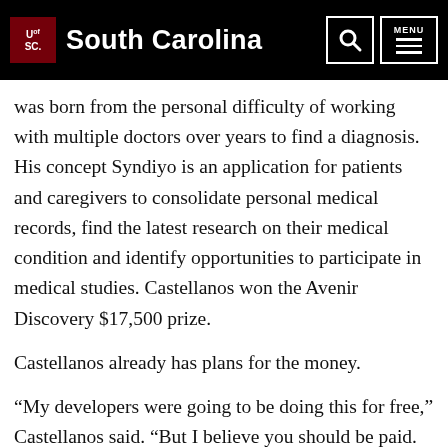University of South Carolina
was born from the personal difficulty of working with multiple doctors over years to find a diagnosis. His concept Syndiyo is an application for patients and caregivers to consolidate personal medical records, find the latest research on their medical condition and identify opportunities to participate in medical studies. Castellanos won the Avenir Discovery $17,500 prize.
Castellanos already has plans for the money.
“My developers were going to be doing this for free,” Castellanos said. “But I believe you should be paid. So this will allow me to pay them some salary.”
Seniors Ryan Barkley and James Roberts entered the junk